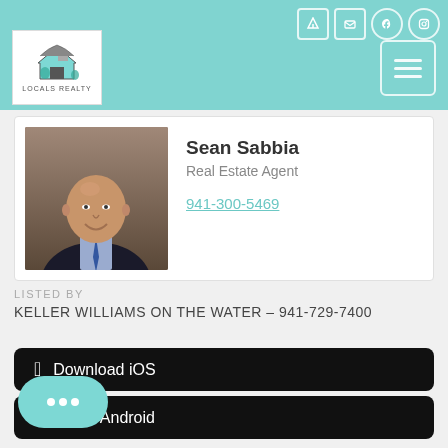Locals Realty
[Figure (photo): Headshot of Sean Sabbia, a bald man in a dark suit and blue tie, smiling]
Sean Sabbia
Real Estate Agent
941-300-5469
LISTED BY
KELLER WILLIAMS ON THE WATER – 941-729-7400
Download iOS
Download Android